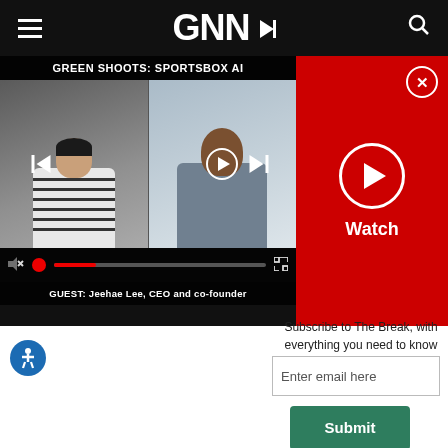GNN
[Figure (screenshot): Video player showing Green Shoots: Sportsbox AI episode with two guests, including Jeehae Lee, CEO and co-founder. Video controls visible at bottom.]
[Figure (screenshot): Red Watch panel with play button and close (X) button]
Subscribe to The Break, with everything you need to know delivered to your inbox.
Enter email here
Submit